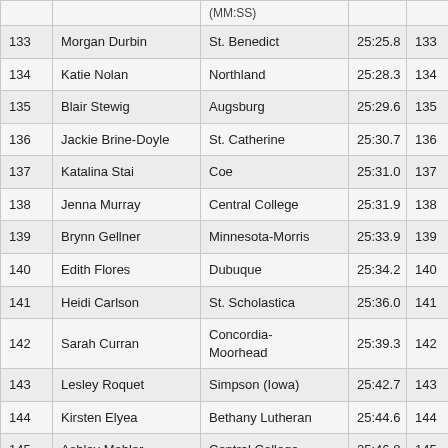| Place | Name | School | Time (MM:SS) | Overall |
| --- | --- | --- | --- | --- |
| 133 | Morgan Durbin | St. Benedict | 25:25.8 | 133 |
| 134 | Katie Nolan | Northland | 25:28.3 | 134 |
| 135 | Blair Stewig | Augsburg | 25:29.6 | 135 |
| 136 | Jackie Brine-Doyle | St. Catherine | 25:30.7 | 136 |
| 137 | Katalina Stai | Coe | 25:31.0 | 137 |
| 138 | Jenna Murray | Central College | 25:31.9 | 138 |
| 139 | Brynn Gellner | Minnesota-Morris | 25:33.9 | 139 |
| 140 | Edith Flores | Dubuque | 25:34.2 | 140 |
| 141 | Heidi Carlson | St. Scholastica | 25:36.0 | 141 |
| 142 | Sarah Curran | Concordia-Moorhead | 25:39.3 | 142 |
| 143 | Lesley Roquet | Simpson (Iowa) | 25:42.7 | 143 |
| 144 | Kirsten Elyea | Bethany Lutheran | 25:44.6 | 144 |
| 145 | Ashley Mohler | Central College | 25:46.8 | 145 |